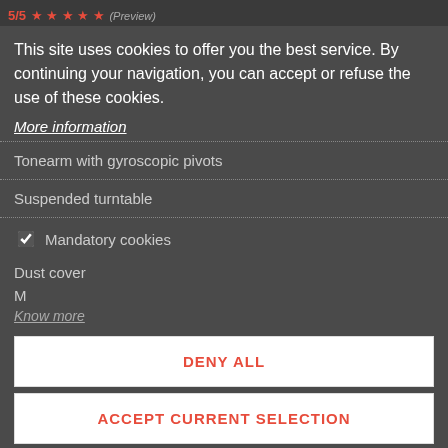5/5 ★★★★★ (Preview)
Semi-automatic vinyl turntable
Ortofon 2MO MM Cartridge
33⅓ and 45 rpm
This site uses cookies to offer you the best service. By continuing your navigation, you can accept or refuse the use of these cookies.
More information
Tonearm with gyroscopic pivots
Suspended turntable
✓ Mandatory cookies
Dust cover
M
Know more
DENY ALL
ACCEPT CURRENT SELECTION
ACCEPT ALL
Reference : MPLDUAL014
WISHLISTS
SHARE